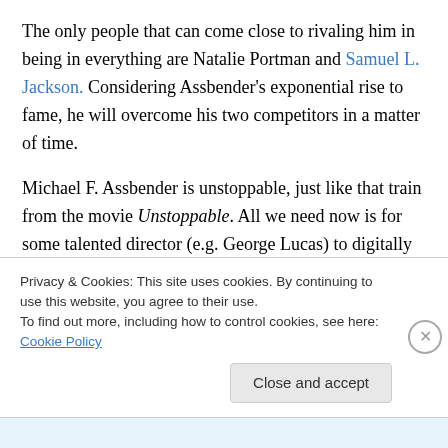The only people that can come close to rivaling him in being in everything are Natalie Portman and Samuel L. Jackson. Considering Assbender's exponential rise to fame, he will overcome his two competitors in a matter of time.
Michael F. Assbender is unstoppable, just like that train from the movie Unstoppable. All we need now is for some talented director (e.g. George Lucas) to digitally remove actors from past movies and replace them with Assbender. There shouldn't be a film in existence that doesn't include
Privacy & Cookies: This site uses cookies. By continuing to use this website, you agree to their use.
To find out more, including how to control cookies, see here: Cookie Policy